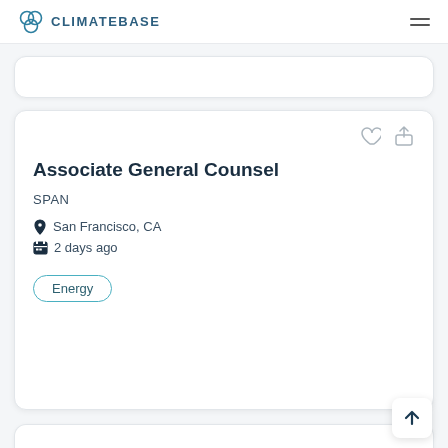CLIMATEBASE
Associate General Counsel
SPAN
San Francisco, CA
2 days ago
Energy